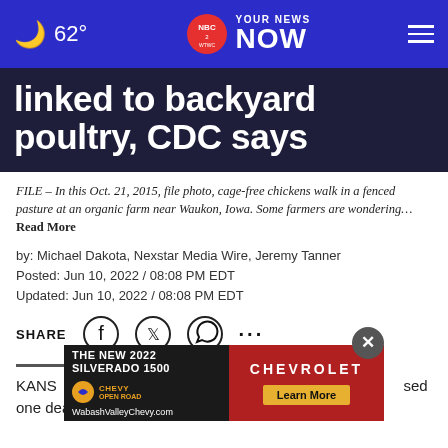🌙 62° | YOUR NEWS NOW (WTWC NBC2 WAWV ABC)
linked to backyard poultry, CDC says
FILE – In this Oct. 21, 2015, file photo, cage-free chickens walk in a fenced pasture at an organic farm near Waukon, Iowa. Some farmers are wondering… Read More
by: Michael Dakota, Nexstar Media Wire, Jeremy Tanner
Posted: Jun 10, 2022 / 08:08 PM EDT
Updated: Jun 10, 2022 / 08:08 PM EDT
KANS... raised one death and sickened over 200 people across at
[Figure (screenshot): Advertisement banner for The New 2022 Silverado 1500 by Chevrolet, WabashValleyChevy.com, Learn More button]